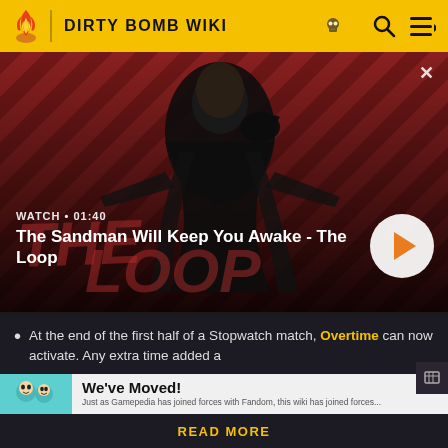DIRTY BOMB WIKI
[Figure (screenshot): Video thumbnail with dark-robed figure holding a raven on diagonal red-striped background. 'THE LOOP' text in background. Shows WATCH • 01:40 label and title 'The Sandman Will Keep You Awake - The Loop' with a circular play button.]
The Sandman Will Keep You Awake - The Loop
At the end of the first half of a Stopwatch match, Overtime can now activate. Any extra time added a
[Figure (illustration): Cartoon characters illustration on teal background in the We've Moved banner]
We've Moved!
Just as Gamepedia has joined forces with Fandom, this wiki has joined forces...
READ MORE